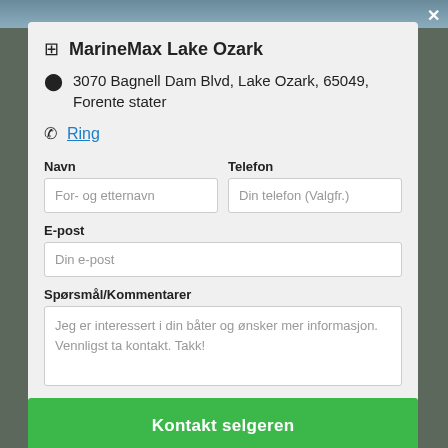MarineMax Lake Ozark
3070 Bagnell Dam Blvd, Lake Ozark, 65049, Forente stater
Ring
Navn
For- og etternavn
Telefon
Din telefon (Valgfr.)
E-post
Din e-post
Spørsmål/Kommentarer
Jeg er interessert i din båter og ønsker mer informasjon. Vennligst ta kontakt. Takk!
Kontakt selgeren